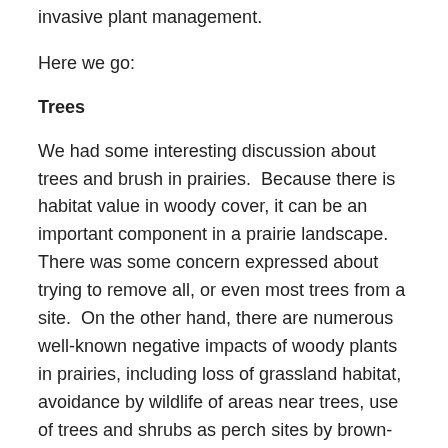invasive plant management.
Here we go:
Trees
We had some interesting discussion about trees and brush in prairies.  Because there is habitat value in woody cover, it can be an important component in a prairie landscape.  There was some concern expressed about trying to remove all, or even most trees from a site.  On the other hand, there are numerous well-known negative impacts of woody plants in prairies, including loss of grassland habitat, avoidance by wildlife of areas near trees, use of trees and shrubs as perch sites by brown-headed cowbirds, trees acting as starting points for invasive plants, and many more.